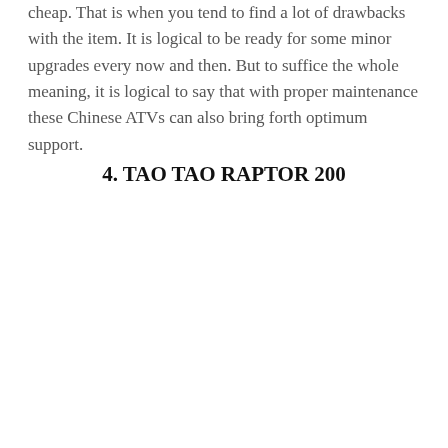cheap. That is when you tend to find a lot of drawbacks with the item. It is logical to be ready for some minor upgrades every now and then. But to suffice the whole meaning, it is logical to say that with proper maintenance these Chinese ATVs can also bring forth optimum support.
4. TAO TAO RAPTOR 200